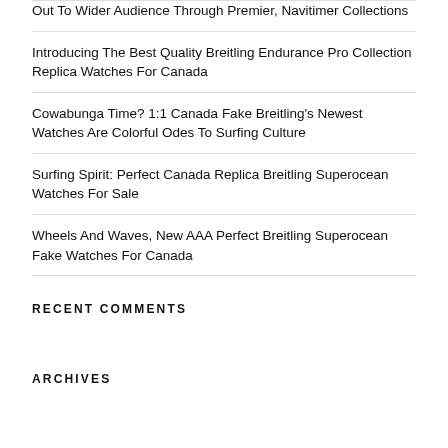Out To Wider Audience Through Premier, Navitimer Collections
Introducing The Best Quality Breitling Endurance Pro Collection Replica Watches For Canada
Cowabunga Time? 1:1 Canada Fake Breitling's Newest Watches Are Colorful Odes To Surfing Culture
Surfing Spirit: Perfect Canada Replica Breitling Superocean Watches For Sale
Wheels And Waves, New AAA Perfect Breitling Superocean Fake Watches For Canada
RECENT COMMENTS
ARCHIVES